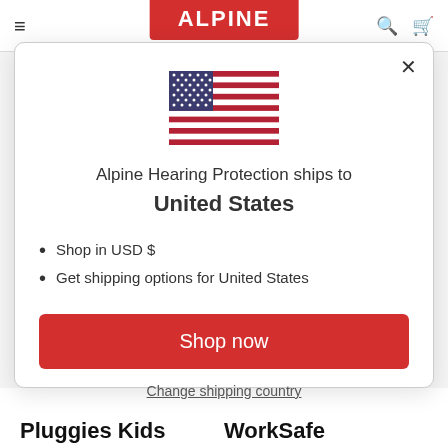ALPINE
[Figure (illustration): US flag SVG illustration]
Alpine Hearing Protection ships to United States
Shop in USD $
Get shipping options for United States
Shop now
Change shipping country
Pluggies Kids	WorkSafe